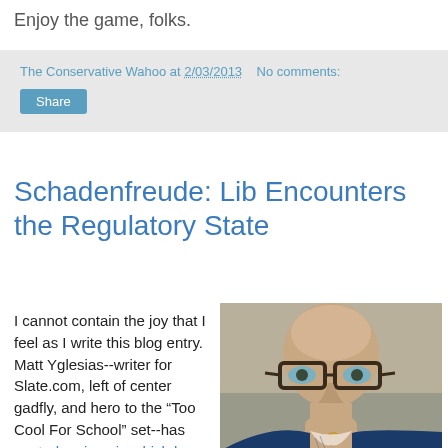Enjoy the game, folks.
The Conservative Wahoo at 2/03/2013   No comments:
Share
Schadenfreude: Lib Encounters the Regulatory State
I cannot contain the joy that I feel as I write this blog entry.  Matt Yglesias--writer for Slate.com, left of center gadfly, and hero to the "Too Cool For School" set--has posted a piece in which he decries the waste and inefficiency
[Figure (photo): A bald man with glasses resting his chin on his hand, wearing a blue shirt, appears to be in a contemplative pose.]